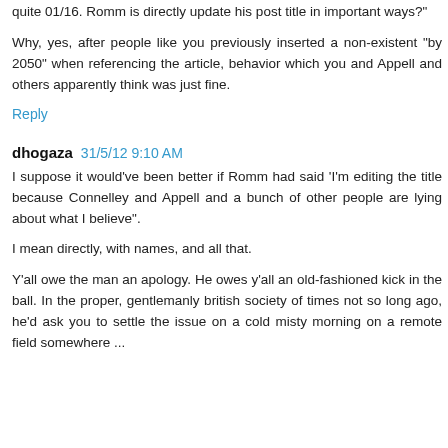quite 01/16. Romm is directly update his post title in important ways?"
Why, yes, after people like you previously inserted a non-existent "by 2050" when referencing the article, behavior which you and Appell and others apparently think was just fine.
Reply
dhogaza  31/5/12 9:10 AM
I suppose it would've been better if Romm had said 'I'm editing the title because Connelley and Appell and a bunch of other people are lying about what I believe".
I mean directly, with names, and all that.
Y'all owe the man an apology. He owes y'all an old-fashioned kick in the ball. In the proper, gentlemanly british society of times not so long ago, he'd ask you to settle the issue on a cold misty morning on a remote field somewhere ...